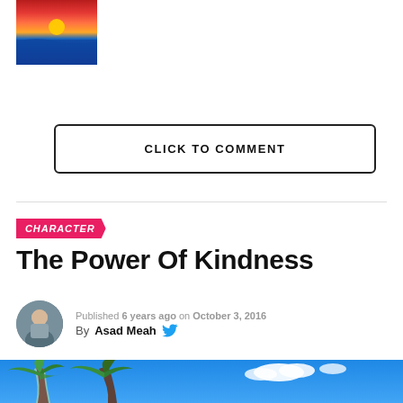[Figure (photo): Thumbnail image of a sunset over ocean with red, orange and dark blue colors]
CLICK TO COMMENT
CHARACTER
The Power Of Kindness
Published 6 years ago on October 3, 2016
By Asad Meah
[Figure (photo): Photo of tropical palm trees against a bright blue sky with white clouds]